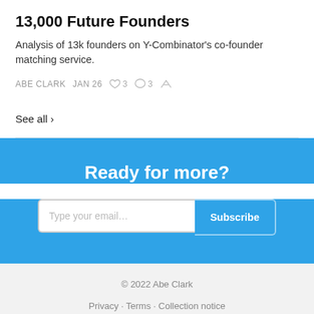13,000 Future Founders
Analysis of 13k founders on Y-Combinator's co-founder matching service.
ABE CLARK  JAN 26  ♡ 3  ◯ 3  ↗
See all ›
Ready for more?
Type your email...  Subscribe
© 2022 Abe Clark
Privacy · Terms · Collection notice